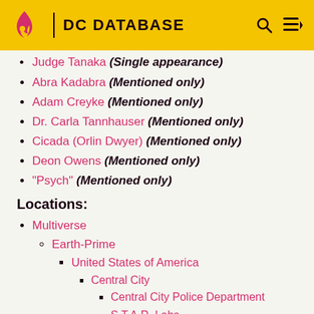DC DATABASE
Judge Tanaka (Single appearance)
Abra Kadabra (Mentioned only)
Adam Creyke (Mentioned only)
Dr. Carla Tannhauser (Mentioned only)
Cicada (Orlin Dwyer) (Mentioned only)
Deon Owens (Mentioned only)
"Psych" (Mentioned only)
Locations:
Multiverse
Earth-Prime
United States of America
Central City
Central City Police Department
S.T.A.R. Labs